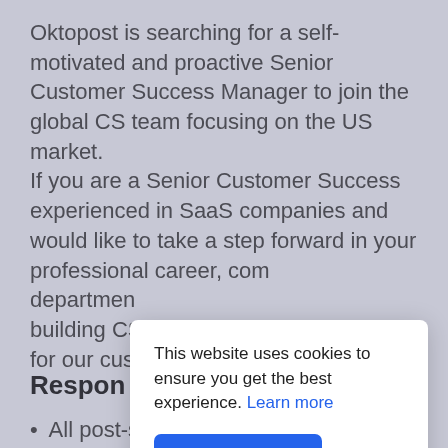Oktopost is searching for a self-motivated and proactive Senior Customer Success Manager to join the global CS team focusing on the US market. If you are a Senior Customer Success experienced in SaaS companies and would like to take a step forward in your professional career, com [partially obscured] departmen [partially obscured] building CS [partially obscured] for our cus [partially obscured]
Respon
All post-sale activities as part of Enterprise
This website uses cookies to ensure you get the best experience. Learn more
Got it!